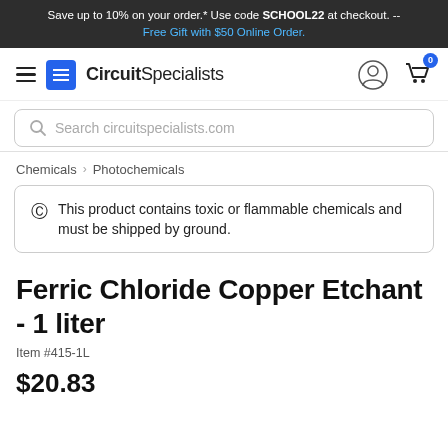Save up to 10% on your order.* Use code SCHOOL22 at checkout. -- Free Gift with $50 Online Order.
[Figure (logo): CircuitSpecialists navigation bar with hamburger menu, logo, user icon, and cart icon with badge 0]
Search circuitspecialists.com
Chemicals > Photochemicals
This product contains toxic or flammable chemicals and must be shipped by ground.
Ferric Chloride Copper Etchant - 1 liter
Item #415-1L
$20.83